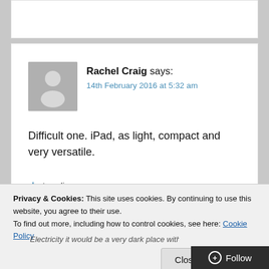Rachel Craig says:
14th February 2016 at 5:32 am
Difficult one. iPad, as light, compact and very versatile.
Loading...
Reply
Privacy & Cookies: This site uses cookies. By continuing to use this website, you agree to their use.
To find out more, including how to control cookies, see here: Cookie Policy
Close and accept
Follow
Electricity it would be a very dark place with...